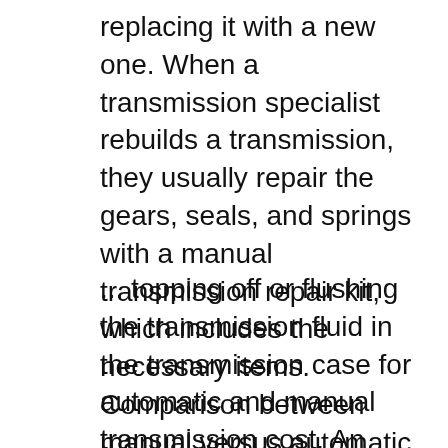replacing it with a new one. When a transmission specialist rebuilds a transmission, they usually repair the gears, seals, and springs with a manual transmission repair kit, which includes the necessary items. Comparison between manual versus automatic transmission cars. Manual versus automatic transmission cars. Manual transmissions cost вЂ¦
... topping off or flushing the transmission fluid in the transmission case for automatic and manual transmission cost. An auto service shop or a transmission COMPARISON OF FIRST GEAR PERFORMANCE 3 PROBLEM STATEMENT. A car comes with a choice